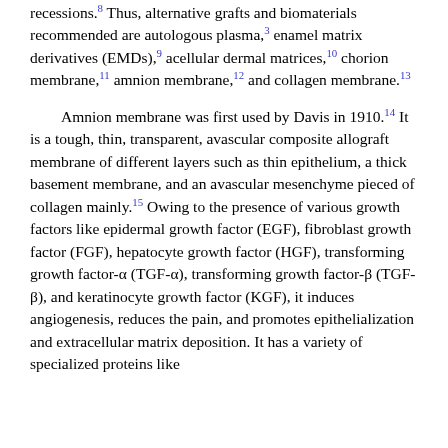recessions.8 Thus, alternative grafts and biomaterials recommended are autologous plasma,3 enamel matrix derivatives (EMDs),9 acellular dermal matrices,10 chorion membrane,11 amnion membrane,12 and collagen membrane.13
Amnion membrane was first used by Davis in 1910.14 It is a tough, thin, transparent, avascular composite allograft membrane of different layers such as thin epithelium, a thick basement membrane, and an avascular mesenchyme pieced of collagen mainly.15 Owing to the presence of various growth factors like epidermal growth factor (EGF), fibroblast growth factor (FGF), hepatocyte growth factor (HGF), transforming growth factor-α (TGF-α), transforming growth factor-β (TGF-β), and keratinocyte growth factor (KGF), it induces angiogenesis, reduces the pain, and promotes epithelialization and extracellular matrix deposition. It has a variety of specialized proteins like